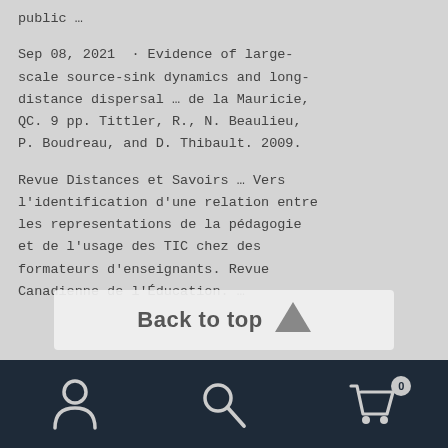public …
Sep 08, 2021  · Evidence of large-scale source-sink dynamics and long-distance dispersal … de la Mauricie, QC. 9 pp. Tittler, R., N. Beaulieu, P. Boudreau, and D. Thibault. 2009.
Revue Distances et Savoirs … Vers l'identification d'une relation entre les representations de la pédagogie et de l'usage des TIC chez des formateurs d'enseignants. Revue Canadienne de l'Éducation. …
[Figure (other): Back to top button overlay with upward arrow triangle icon]
Bottom navigation bar with person icon, search icon, and cart icon with badge 0